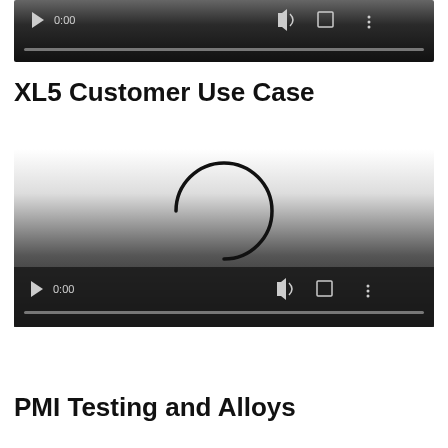[Figure (screenshot): Video player control bar showing play button, 0:00 timestamp, volume icon, fullscreen icon, and more options icon with a grey progress bar at bottom. Dark gradient background.]
XL5 Customer Use Case
[Figure (screenshot): Video player loading state with a spinning/loading circle indicator visible in the center over a light background gradient, with control bar at bottom showing play button, 0:00, volume, fullscreen, and more options icons.]
PMI Testing and Alloys